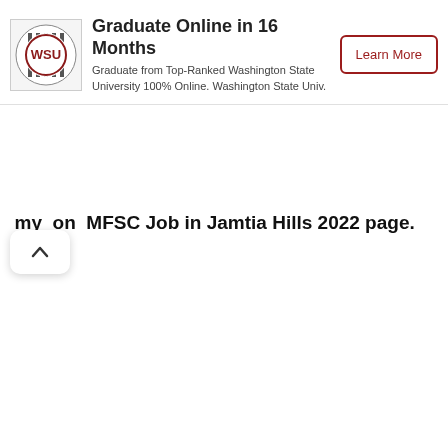[Figure (screenshot): Advertisement banner for Washington State University online graduate program. Shows WSU logo, title 'Graduate Online in 16 Months', subtitle text 'Graduate from Top-Ranked Washington State University 100% Online. Washington State Univ.', and a 'Learn More' button. Ad indicators (triangle and X) in top right.]
my on MFSC Job in Jamtia Hills 2022 page.